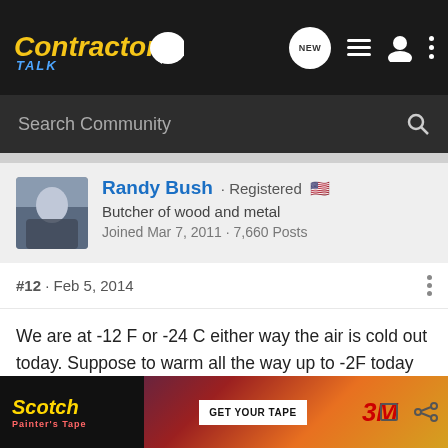Contractor Talk - NEW
Search Community
Randy Bush · Registered
Butcher of wood and metal
Joined Mar 7, 2011 · 7,660 Posts
#12 · Feb 5, 2014
We are at -12 F or -24 C either way the air is cold out today. Suppose to warm all the way up to -2F today :thumbsup::thumbsup: t working pretty much all week because of it to cold. Next week back up in the -30F range.
[Figure (photo): Scotch Painter's Tape advertisement banner with GET YOUR TAPE button and 3M logo]